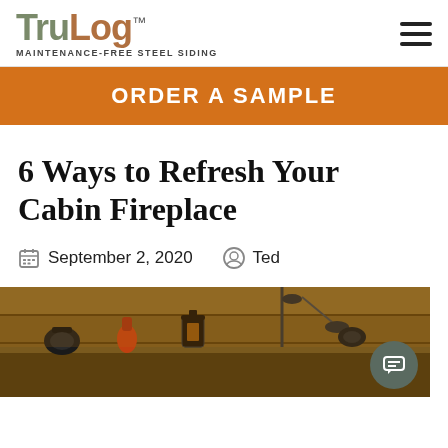TruLog™ MAINTENANCE-FREE STEEL SIDING
[Figure (illustration): Orange call-to-action banner reading ORDER A SAMPLE]
6 Ways to Refresh Your Cabin Fireplace
September 2, 2020   Ted
[Figure (photo): Photo of a rustic cabin fireplace mantel with iron tools and warm wooden background]